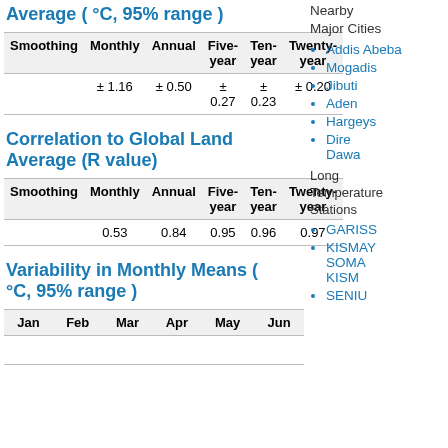Average ( °C, 95% range )
| Smoothing | Monthly | Annual | Five-year | Ten-year | Twenty-year |
| --- | --- | --- | --- | --- | --- |
|  | ± 1.16 | ± 0.50 | ± 0.27 | ± 0.23 | ± 0.20 |
Correlation to Global Land Average (R value)
| Smoothing | Monthly | Annual | Five-year | Ten-year | Twenty-year |
| --- | --- | --- | --- | --- | --- |
|  | 0.53 | 0.84 | 0.95 | 0.96 | 0.97 |
Variability in Monthly Means ( °C, 95% range )
| Jan | Feb | Mar | Apr | May | Jun |
| --- | --- | --- | --- | --- | --- |
Nearby Major Cities
Addis Abeba
Mogadis
Jibuti
Aden
Hargeys
Dire Dawa
Long Temperature Stations
GARISS
KISMAY SOMA KISM
SENIU